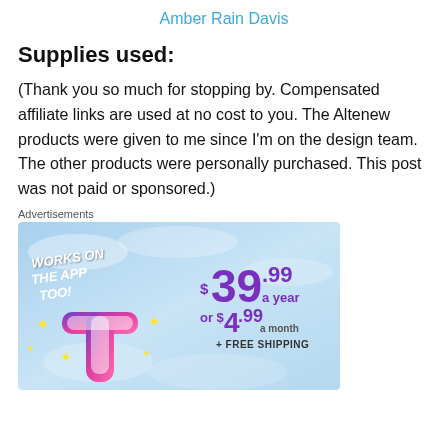Amber Rain Davis
Supplies used:
(Thank you so much for stopping by. Compensated affiliate links are used at no cost to you. The Altenew products were given to me since I’m on the design team. The other products were personally purchased. This post was not paid or sponsored.)
Advertisements
[Figure (photo): Advertisement banner showing a Tumblr-like logo with text: WORKS ON THE APP TOO! and pricing $39.99 a year or $4.99 a month + FREE SHIPPING on a blue background with sparkle stars.]